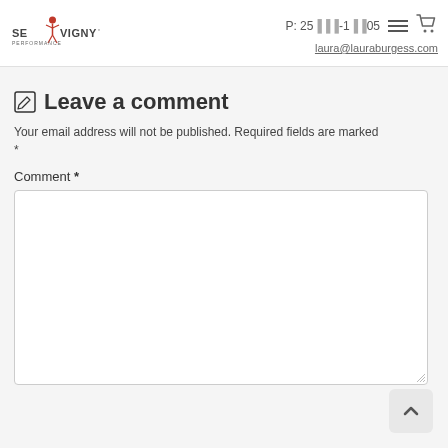Sevigny Performance | P: 25[...]-1[...]05 | laura@lauraburgess.com
✎ Leave a comment
Your email address will not be published. Required fields are marked *
Comment *
[Figure (screenshot): Empty comment textarea input field with resize handle and scroll-to-top button]